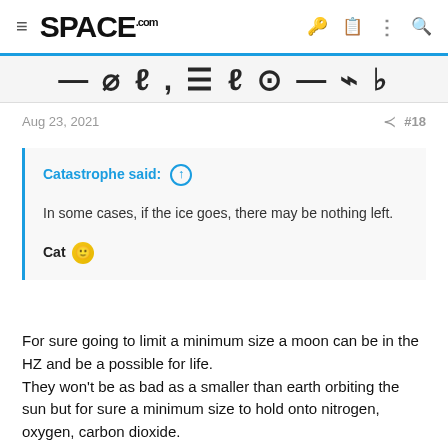SPACE.com
Aug 23, 2021   #18
Catastrophe said: ↑

In some cases, if the ice goes, there may be nothing left.

Cat 🙂
For sure going to limit a minimum size a moon can be in the HZ and be a possible for life.
They won't be as bad as a smaller than earth orbiting the sun but for sure a minimum size to hold onto nitrogen, oxygen, carbon dioxide.
We do get a decent protection of the suns atmosphere striping inside the host planet magnetic field.